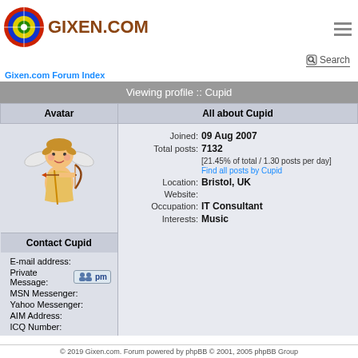[Figure (logo): Gixen.com logo with archery target/bullseye icon and GIXEN.COM text in brown]
Gixen.com Forum Index
Viewing profile :: Cupid
| Avatar | All about Cupid |
| --- | --- |
| [cupid avatar image] | Joined: 09 Aug 2007
Total posts: 7132
[21.45% of total / 1.30 posts per day]
Find all posts by Cupid
Location: Bristol, UK
Website:
Occupation: IT Consultant
Interests: Music |
| Contact Cupid |  |
| E-mail address:
Private Message: [pm icon]
MSN Messenger:
Yahoo Messenger:
AIM Address:
ICQ Number: |  |
Jump to: Select a forum  Go
© 2019 Gixen.com. Forum powered by phpBB © 2001, 2005 phpBB Group